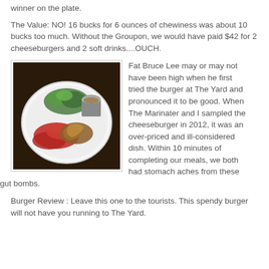winner on the plate.
The Value: NO! 16 bucks for 6 ounces of chewiness was about 10 bucks too much. Without the Groupon, we would have paid $42 for 2 cheeseburgers and 2 soft drinks....OUCH.
[Figure (photo): A white plate with red meat slices, caramelized onions, green arugula salad, and a small metal cup with sauce on a dark wooden surface.]
Fat Bruce Lee may or may not have been high when he first tried the burger at The Yard and pronounced it to be good. When The Marinater and I sampled the cheeseburger in 2012, it was an over-priced and ill-considered dish. Within 10 minutes of completing our meals, we both had stomach aches from these gut bombs.
Burger Review : Leave this one to the tourists. This spendy burger will not have you running to The Yard.